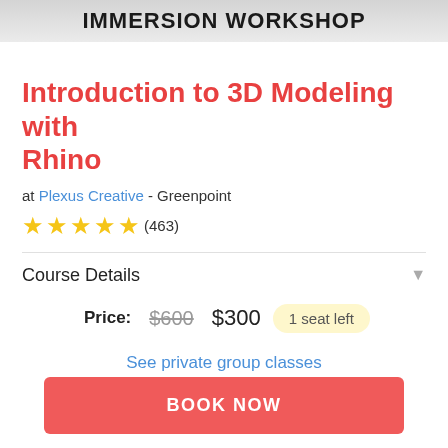IMMERSION WORKSHOP
Introduction to 3D Modeling with Rhino
at Plexus Creative - Greenpoint
★★★★★ (463)
Course Details
Price: $600 $300  1 seat left
See private group classes
BOOK NOW